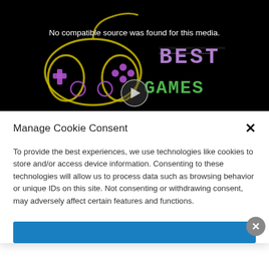[Figure (screenshot): Dark video player banner with neon gaming controller graphic on the left, glitch-style text 'BEST GAMES' in purple and green on the right, and a message 'No compatible source was found for this media.' overlaid in white text center-top.]
Manage Cookie Consent
To provide the best experiences, we use technologies like cookies to store and/or access device information. Consenting to these technologies will allow us to process data such as browsing behavior or unique IDs on this site. Not consenting or withdrawing consent, may adversely affect certain features and functions.
[Figure (screenshot): Blue button partially visible at the bottom of the cookie consent modal, and a grey circular close button at bottom-right corner.]